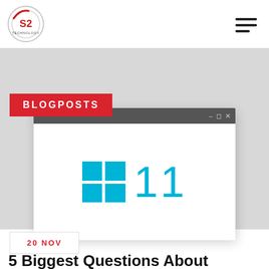S2 Technology logo and navigation
BLOGPOSTS
[Figure (illustration): A Windows 11 logo displayed inside a browser/application window mockup with a grey title bar on a grey background]
20 NOV
5 Biggest Questions About